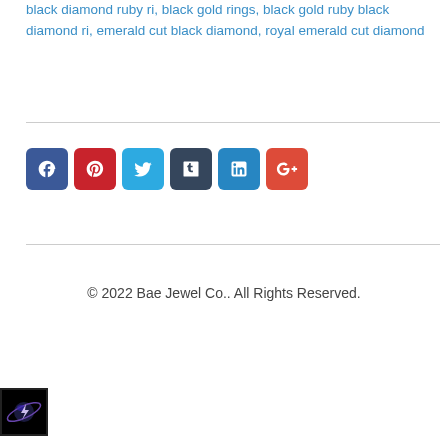black diamond ruby ri, black gold rings, black gold ruby black diamond ri, emerald cut black diamond, royal emerald cut diamond
[Figure (other): Social media share buttons: Facebook, Pinterest, Twitter, Tumblr, LinkedIn, Google+]
© 2022 Bae Jewel Co.. All Rights Reserved.
[Figure (logo): Black square logo with a stylized planet/orbit graphic and lightning bolt in purple and white tones]